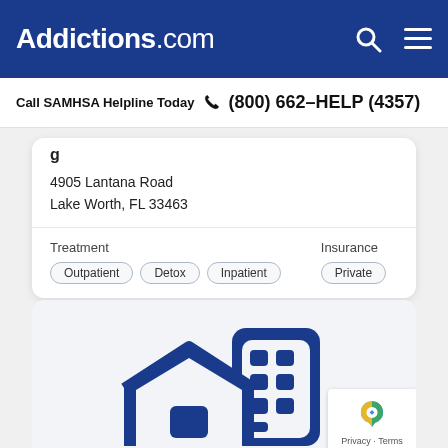Addictions.com
Call SAMHSA Helpline Today  (800) 662-HELP (4357)
4905 Lantana Road
Lake Worth, FL 33463
Treatment
Outpatient  Detox  Inpatient
Insurance
Private
[Figure (illustration): Icon showing a house and a building/office structure in dark blue, representing residential and commercial treatment facilities.]